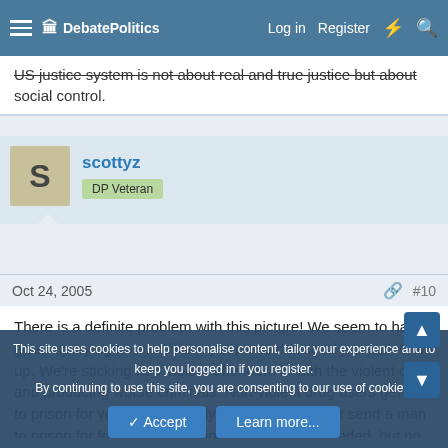DebatePolitics — Log in | Register
US justice system is not about real and true justice but about social control.
scottyz
DP Veteran
Oct 24, 2005   #10
There is a definite problem with this picture! We seem to have given up trying to rehabilitate people and instead just lock them up. We're sticking non-violent offenders in with the violent ones and producing worse criminals. Non-violent drug users get sent to prison for years why exactly? Didn't Florida just send a man to prison for forging prescriptions for drugs he needed, but no doctor would give him because they fear the DEA? Now the state gets to pay for his meds! It's a complete waste of money and
This site uses cookies to help personalise content, tailor your experience and to keep you logged in if you register.
By continuing to use this site, you are consenting to our use of cookies.